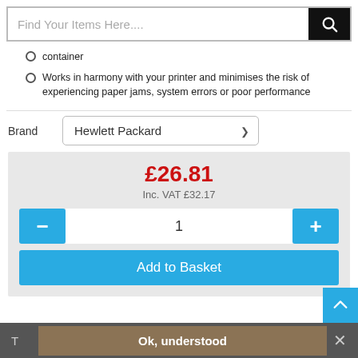Find Your Items Here....
container
Works in harmony with your printer and minimises the risk of experiencing paper jams, system errors or poor performance
Brand  Hewlett Packard
£26.81  Inc. VAT £32.17
1
Add to Basket
Ok, understood